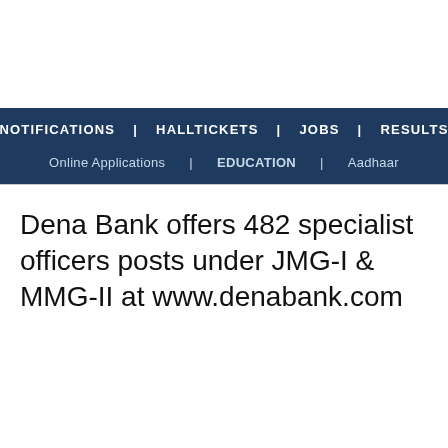NOTIFICATIONS | HALLTICKETS | JOBS | RESULTS | Online Applications | EDUCATION | Aadhaar
Dena Bank offers 482 specialist officers posts under JMG-I & MMG-II at www.denabank.com